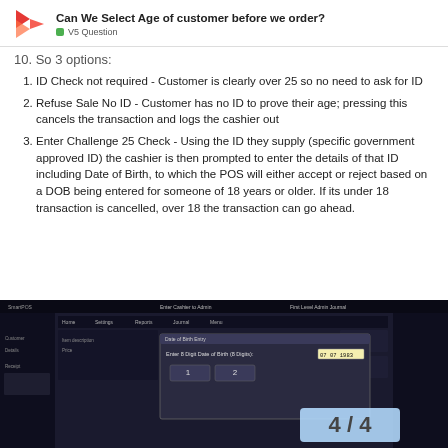Can We Select Age of customer before we order? V5 Question
10. So 3 options:
ID Check not required - Customer is clearly over 25 so no need to ask for ID
Refuse Sale No ID - Customer has no ID to prove their age; pressing this cancels the transaction and logs the cashier out
Enter Challenge 25 Check - Using the ID they supply (specific government approved ID) the cashier is then prompted to enter the details of that ID including Date of Birth, to which the POS will either accept or reject based on a DOB being entered for someone of 18 years or older. If its under 18 transaction is cancelled, over 18 the transaction can go ahead.
[Figure (screenshot): POS screen showing 'Enter 8 Digit Date of Birth (8 Digits): 07 07 1983' with numeric keypad buttons 1 and 2 visible. Page number overlay showing 4/4.]